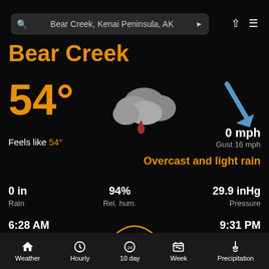Bear Creek, Kenai Peninsula, AK
Bear Creek
54°
Feels like 54°
[Figure (illustration): Rain cloud weather icon with raindrop]
[Figure (illustration): Blue wind direction arrow pointing southeast]
0 mph
Gust 16 mph
Overcast and light rain
0 in
Rain
94%
Rel. hum.
29.9 inHg
Pressure
6:28 AM
Sunrise
15 h 3 min
9:31 PM
Sunset
Weather  Hourly  10 day  Week  Precipitation